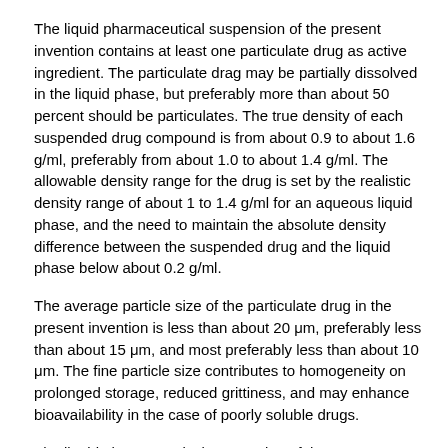The liquid pharmaceutical suspension of the present invention contains at least one particulate drug as active ingredient. The particulate drag may be partially dissolved in the liquid phase, but preferably more than about 50 percent should be particulates. The true density of each suspended drug compound is from about 0.9 to about 1.6 g/ml, preferably from about 1.0 to about 1.4 g/ml. The allowable density range for the drug is set by the realistic density range of about 1 to 1.4 g/ml for an aqueous liquid phase, and the need to maintain the absolute density difference between the suspended drug and the liquid phase below about 0.2 g/ml.
The average particle size of the particulate drug in the present invention is less than about 20 μm, preferably less than about 15 μm, and most preferably less than about 10 μm. The fine particle size contributes to homogeneity on prolonged storage, reduced grittiness, and may enhance bioavailability in the case of poorly soluble drugs.
The liquid pharmaceutical suspension of the present invention may optionally include other dissolved drugs. The total amount of drug, both dissolved and suspended, in the